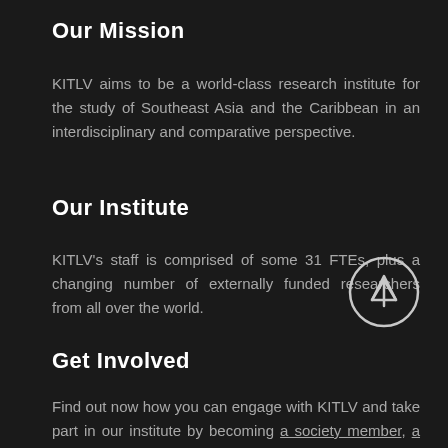Our Mission
KITLV aims to be a world-class research institute for the study of Southeast Asia and the Caribbean in an interdisciplinary and comparative perspective.
Our Institute
KITLV's staff is comprised of some 31 FTEs, plus a changing number of externally funded researchers from all over the world.
Get Involved
Find out now how you can engage with KITLV and take part in our institute by becoming a society member, a visiting fellow, an intern or a student.